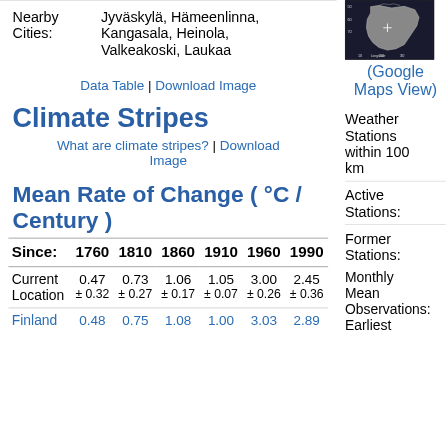|  |  |
| --- | --- |
| Nearby Cities: | Jyväskylä, Hämeenlinna, Kangasala, Heinola, Valkeakoski, Laukaa |
Data Table | Download Image
Climate Stripes
What are climate stripes? | Download Image
Mean Rate of Change ( °C / Century )
| Since: | 1760 | 1810 | 1860 | 1910 | 1960 | 1990 |
| --- | --- | --- | --- | --- | --- | --- |
| Current Location | 0.47
±0.32 | 0.73
±0.27 | 1.06
±0.17 | 1.05
±0.07 | 3.00
±0.26 | 2.45
±0.36 |
| Finland | 0.48 | 0.75 | 1.08 | 1.00 | 3.03 | 2.89 |
[Figure (map): Map showing location in Finland region]
(Google Maps View)
Weather Stations within 100 km
Active Stations:
Former Stations:
Monthly Mean Observations:
Earliest